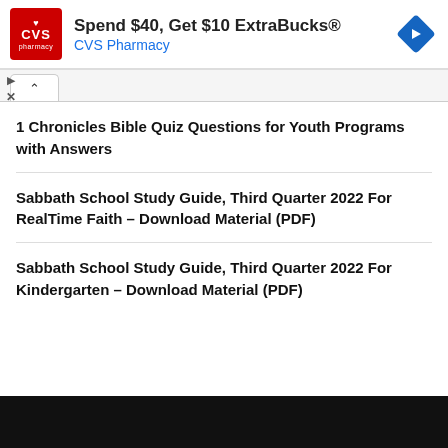[Figure (infographic): CVS Pharmacy advertisement banner: red CVS pharmacy logo, text 'Spend $40, Get $10 ExtraBucks® CVS Pharmacy', blue diamond navigation icon on right, with dismiss/close controls on left]
1 Chronicles Bible Quiz Questions for Youth Programs with Answers
Sabbath School Study Guide, Third Quarter 2022 For RealTime Faith – Download Material (PDF)
Sabbath School Study Guide, Third Quarter 2022 For Kindergarten – Download Material (PDF)